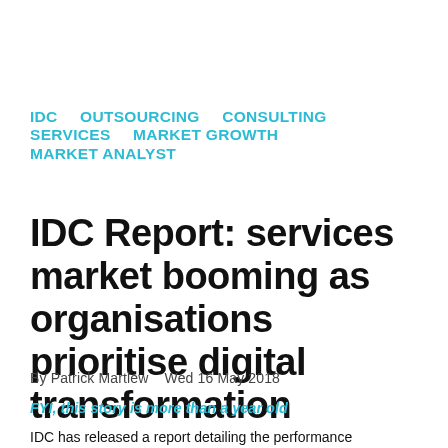IDC   OUTSOURCING   CONSULTING SERVICES   MARKET GROWTH   MARKET ANALYST
IDC Report: services market booming as organisations prioritise digital transformation
By Patrick Martlew   Wed 16 May 2018
FYI, this story is more than a year old
IDC has released a report detailing the performance